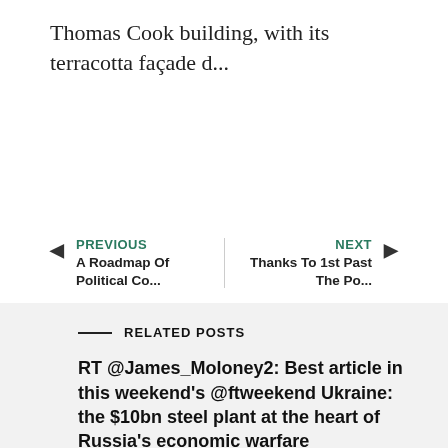Thomas Cook building, with its terracotta façade d…
PREVIOUS
A Roadmap Of Political Co…
NEXT
Thanks To 1st Past The Po…
RELATED POSTS
RT @James_Moloney2: Best article in this weekend's @ftweekend Ukraine: the $10bn steel plant at the heart of Russia's economic warfare